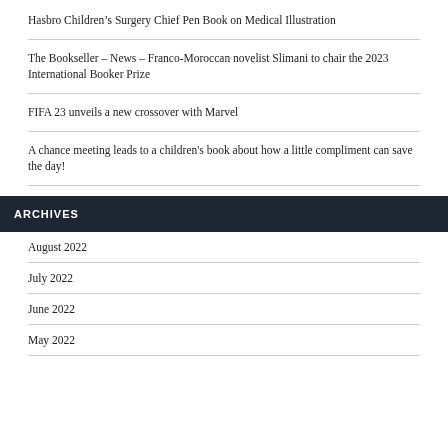Hasbro Children’s Surgery Chief Pen Book on Medical Illustration
The Bookseller – News – Franco-Moroccan novelist Slimani to chair the 2023 International Booker Prize
FIFA 23 unveils a new crossover with Marvel
A chance meeting leads to a children's book about how a little compliment can save the day!
ARCHIVES
August 2022
July 2022
June 2022
May 2022